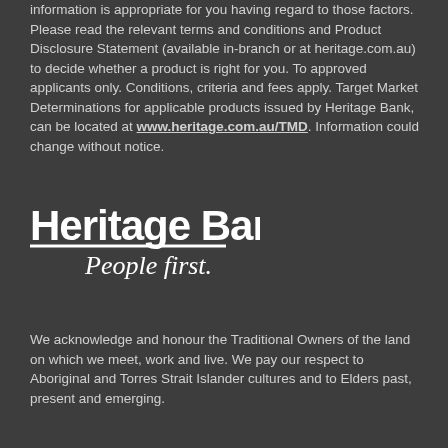information is appropriate for you having regard to those factors. Please read the relevant terms and conditions and Product Disclosure Statement (available in-branch or at heritage.com.au) to decide whether a product is right for you. To approved applicants only. Conditions, criteria and fees apply. Target Market Determinations for applicable products issued by Heritage Bank, can be located at www.heritage.com.au/TMD. Information could change without notice.
[Figure (logo): Heritage Bank logo with 'Heritage Bank' in bold white text with underline, and 'People first.' in italic white script below]
We acknowledge and honour the Traditional Owners of the land on which we meet, work and live. We pay our respect to Aboriginal and Torres Strait Islander cultures and to Elders past, present and emerging.